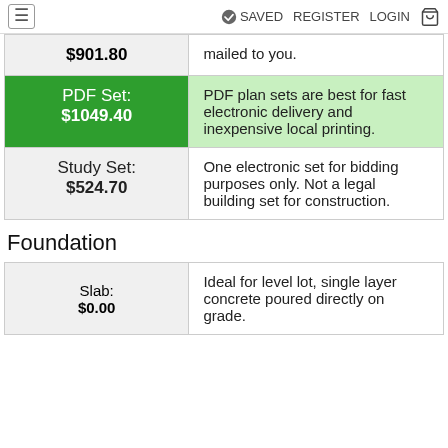≡  ✓ SAVED  REGISTER  LOGIN  🛒
| Price | Description |
| --- | --- |
| $901.80 | mailed to you. |
| PDF Set: $1049.40 | PDF plan sets are best for fast electronic delivery and inexpensive local printing. |
| Study Set: $524.70 | One electronic set for bidding purposes only. Not a legal building set for construction. |
Foundation
| Price | Description |
| --- | --- |
| Slab: $0.00 | Ideal for level lot, single layer concrete poured directly on grade. |